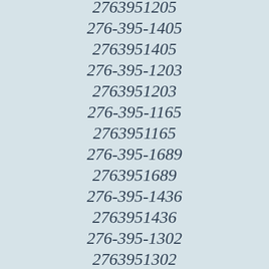2763951205
276-395-1405
2763951405
276-395-1203
2763951203
276-395-1165
2763951165
276-395-1689
2763951689
276-395-1436
2763951436
276-395-1302
2763951302
276-395-1469
2763951469
276-395-1115